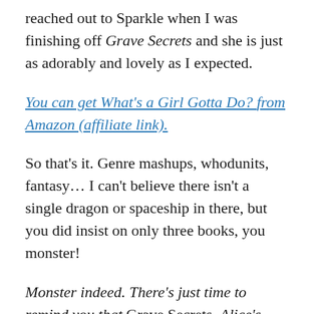reached out to Sparkle when I was finishing off Grave Secrets and she is just as adorably and lovely as I expected.
You can get What's a Girl Gotta Do? from Amazon (affiliate link).
So that's it. Genre mashups, whodunits, fantasy... I can't believe there isn't a single dragon or spaceship in there, but you did insist on only three books, you monster!
Monster indeed. There's just time to remind you that Grave Secrets, Alice's debut novel, has just come